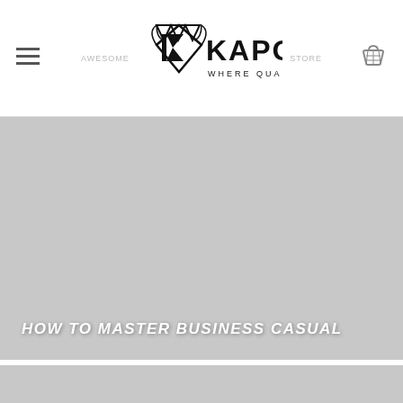KAPOK — WHERE QUALITY MEETS STYLE
[Figure (photo): Large gray placeholder image for a blog post or product feature, with text overlay 'HOW TO MASTER BUSINESS CASUAL']
HOW TO MASTER BUSINESS CASUAL
[Figure (photo): Second gray placeholder image, partially visible at the bottom of the page, with a dark circular chat/support icon in the bottom-right corner]